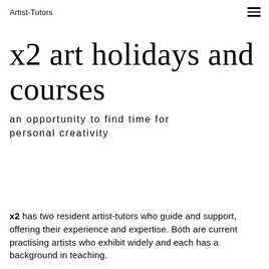Artist-Tutors
x2 art holidays and courses
an opportunity to find time for personal creativity
x2 has two resident artist-tutors who guide and support, offering their experience and expertise. Both are current practising artists who exhibit widely and each has a background in teaching.